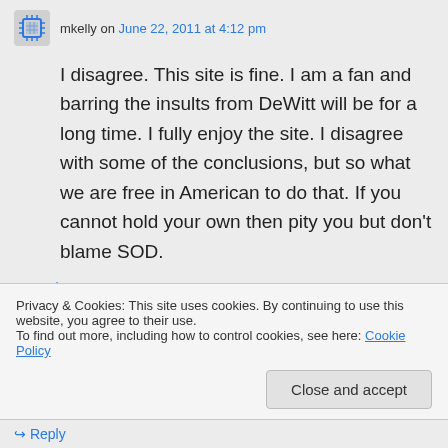mkelly on June 22, 2011 at 4:12 pm
I disagree. This site is fine. I am a fan and barring the insults from DeWitt will be for a long time. I fully enjoy the site. I disagree with some of the conclusions, but so what we are free in American to do that. If you cannot hold your own then pity you but don't blame SOD.
↳ Reply
Privacy & Cookies: This site uses cookies. By continuing to use this website, you agree to their use.
To find out more, including how to control cookies, see here: Cookie Policy
Close and accept
↳ Reply